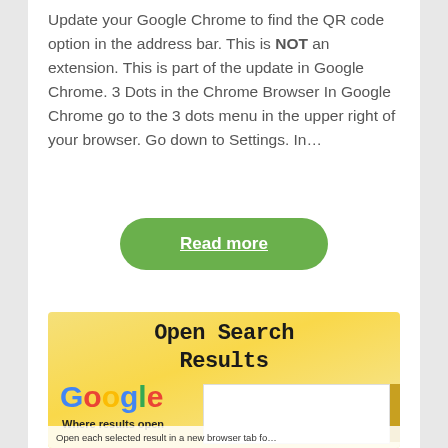Update your Google Chrome to find the QR code option in the address bar. This is NOT an extension. This is part of the update in Google Chrome. 3 Dots in the Chrome Browser In Google Chrome go to the 3 dots menu in the upper right of your browser. Go down to Settings. In…
Read more
[Figure (infographic): Yellow gradient background image with 'Open Search Results' title in bold monospace font, Google logo below with 'Where results open' subtitle, and a white content box partially visible]